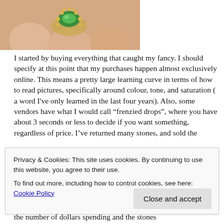[Figure (photo): Close-up photo of a hand holding a green gemstone ring with decorative gold setting, fingers visible in background]
I started by buying everything that caught my fancy. I should specify at this point that my purchases happen almost exclusively online. This means a pretty large learning curve in terms of how to read pictures, specifically around colour, tone, and saturation ( a word I've only learned in the last four years). Also, some vendors have what I would call “frenzied drops”, where you have about 3 seconds or less to decide if you want something, regardless of price. I’ve returned many stones, and sold the
Privacy & Cookies: This site uses cookies. By continuing to use this website, you agree to their use.
To find out more, including how to control cookies, see here: Cookie Policy
Close and accept
the number of dollars spending and the stones